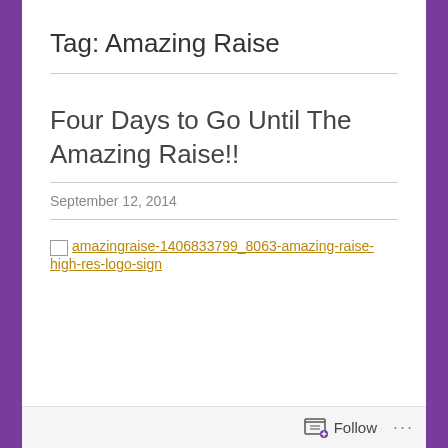Tag: Amazing Raise
Four Days to Go Until The Amazing Raise!!
September 12, 2014
[Figure (other): Broken image link to amazingraise-1406833799_8063-amazing-raise-high-res-logo-sign]
Follow